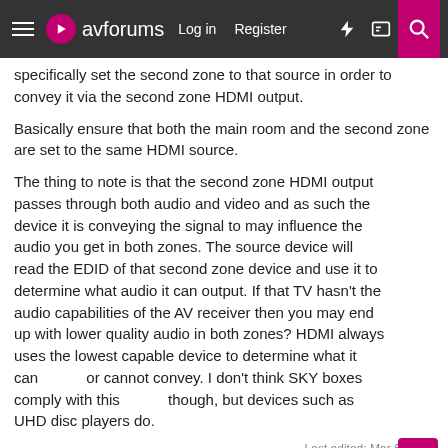avforums — Log in | Register
specifically set the second zone to that source in order to convey it via the second zone HDMI output.
Basically ensure that both the main room and the second zone are set to the same HDMI source.
The thing to note is that the second zone HDMI output passes through both audio and video and as such the device it is conveying the signal to may influence the audio you get in both zones. The source device will read the EDID of that second zone device and use it to determine what audio it can output. If that TV hasn't the audio capabilities of the AV receiver then you may end up with lower quality audio in both zones? HDMI always uses the lowest capable device to determine what it can or cannot convey. I don't think SKY boxes comply with this though, but devices such as UHD disc players do.
Last edited: Mar 6, 2022
Atorinewer